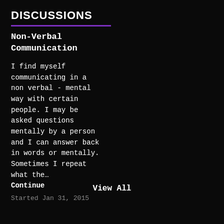DISCUSSIONS
Non-Verbal Communication
I find myself communicating in a non verbal - mental way with certain people. I may be asked questions mentally by a person and I can answer back in words or mentally. Sometimes I repeat what the…
Continue
Started Jan 31, 2015
View All